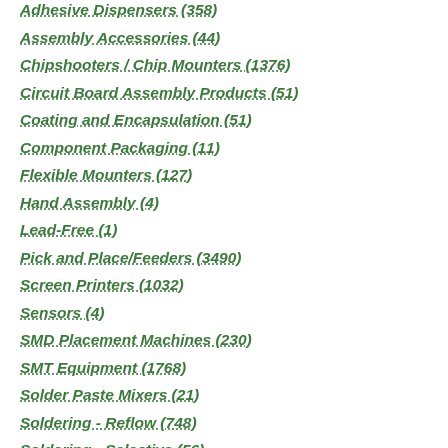Adhesive Dispensers (358)
Assembly Accessories (44)
Chipshooters / Chip Mounters (1376)
Circuit Board Assembly Products (51)
Coating and Encapsulation (51)
Component Packaging (11)
Flexible Mounters (127)
Hand Assembly (4)
Lead-Free (1)
Pick and Place/Feeders (3490)
Screen Printers (1032)
Sensors (4)
SMD Placement Machines (230)
SMT Equipment (1768)
Solder Paste Mixers (21)
Soldering - Reflow (748)
Soldering - Selective (56)
Soldering - Wave (223)
Soldering Equipment/Fluxes (104)